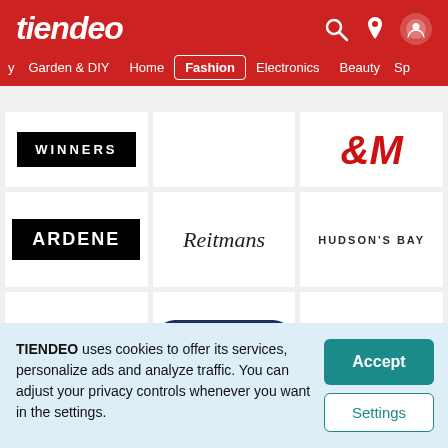tiendeo — navigation: Garden & DIY, Home, Fashion (active), Electronics, Beauty, Sp...
[Figure (logo): Winners logo — white text on black background]
[Figure (logo): H&M logo — red stylized text]
[Figure (logo): Ardene logo — white text on black background]
[Figure (logo): Reitmans logo — italic script text]
[Figure (logo): Hudson's Bay logo — dark uppercase spaced text]
[Figure (logo): Mark's logo — orange square + grey text]
[Figure (logo): Old Navy logo — white text on dark navy oval]
[Figure (logo): Joe Fresh logo — orange bold text]
TIENDEO uses cookies to offer its services, personalize ads and analyze traffic. You can adjust your privacy controls whenever you want in the settings.